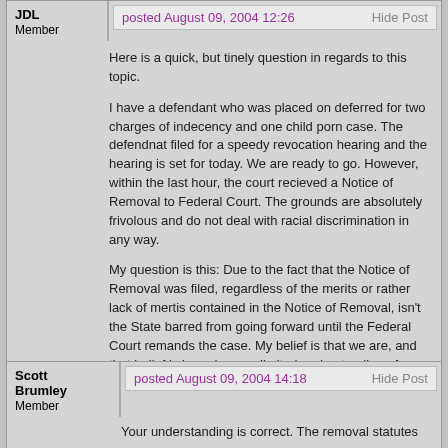JDL
Member
posted August 09, 2004 12:26
Hide Post
Here is a quick, but tinely question in regards to this topic.

I have a defendant who was placed on deferred for two charges of indecency and one child porn case. The defendnat filed for a speedy revocation hearing and the hearing is set for today. We are ready to go. However, within the last hour, the court recieved a Notice of Removal to Federal Court. The grounds are absolutely frivolous and do not deal with racial discrimination in any way.

My question is this: Due to the fact that the Notice of Removal was filed, regardless of the merits or rather lack of mertis contained in the Notice of Removal, isn't the State barred from going forward until the Federal Court remands the case. My belief is that we are, and that belief is based on my limited understanding of Federal Jurisdiction. I am of the belief that once filed, no matter how friviolus the filing may be, the State temporarily loses jurisdiction. Am I wrong?
Posts: 70 | Location: Hunt County | Registered: February 27, 2001
Scott Brumley
Member
posted August 09, 2004 14:18
Hide Post
Your understanding is correct. The removal statutes